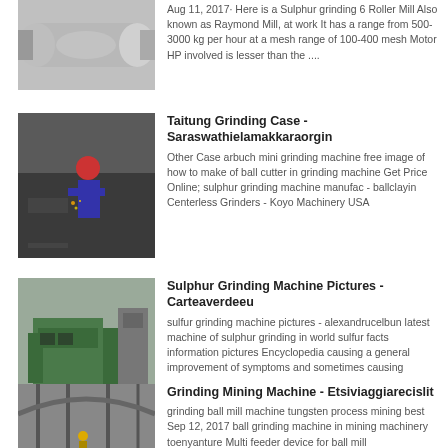[Figure (photo): Industrial roller or grinding machine component, metallic cylindrical part]
Aug 11, 2017· Here is a Sulphur grinding 6 Roller Mill Also known as Raymond Mill, at work It has a range from 500- 3000 kg per hour at a mesh range of 100-400 mesh Motor HP involved is lesser than the ....
[Figure (photo): Worker in red helmet operating industrial grinding machinery in a workshop]
Taitung Grinding Case - Saraswathielamakkaraorgin
Other Case arbuch mini grinding machine free image of how to make of ball cutter in grinding machine Get Price Online; sulphur grinding machine manufac - ballclayin Centerless Grinders - Koyo Machinery USA
[Figure (photo): Large green industrial grinding machine in a factory/warehouse setting]
Sulphur Grinding Machine Pictures - Carteaverdeeu
sulfur grinding machine pictures - alexandrucelbun latest machine of sulphur grinding in world sulfur facts information pictures Encyclopedia causing a general improvement of symptoms and sometimes causing
[Figure (photo): Interior of large industrial building with structural beams and a worker in yellow helmet]
Grinding Mining Machine - Etsiviaggiarecislit
grinding ball mill machine tungsten process mining best Sep 12, 2017 ball grinding machine in mining machinery toenyanture Multi feeder device for ball mill